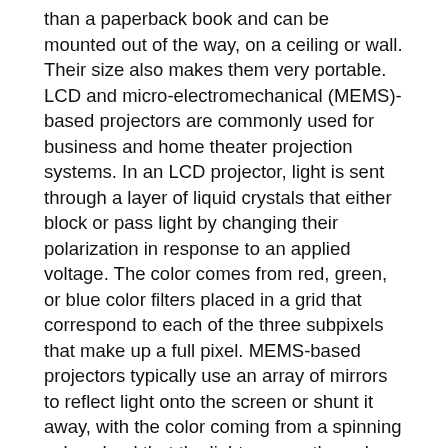than a paperback book and can be mounted out of the way, on a ceiling or wall. Their size also makes them very portable. LCD and micro-electromechanical (MEMS)-based projectors are commonly used for business and home theater projection systems. In an LCD projector, light is sent through a layer of liquid crystals that either block or pass light by changing their polarization in response to an applied voltage. The color comes from red, green, or blue color filters placed in a grid that correspond to each of the three subpixels that make up a full pixel. MEMS-based projectors typically use an array of mirrors to reflect light onto the screen or shunt it away, with the color coming from a spinning color wheel that the light passes through, using the timing of the mirror movements to determine how much of each color will be shown on the screen. To create high definition images, a large number of mirrors are required to be individually operable, typically of the order of about a half to one million mirrors. The use of the color wheel limits the saturation of any one color, since its maximum duty cycle can only be 33% (assuming three colors). The color gamut of these two methods is limited to colors inside the triangle in the chromaticity diagram defined by the three filters. Thus the projectors cannot